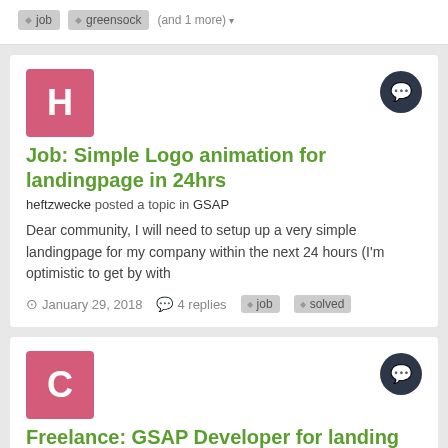job  greensock  (and 1 more)
Job: Simple Logo animation for landingpage in 24hrs
heftzwecke posted a topic in GSAP
Dear community, I will need to setup up a very simple landingpage for my company within the next 24 hours (I'm optimistic to get by with
January 29, 2018  4 replies  job  solved
Freelance: GSAP Developer for landing page
Care-advisors posted a topic in GSAP
We are an emerging company in the healthcare space looking for a